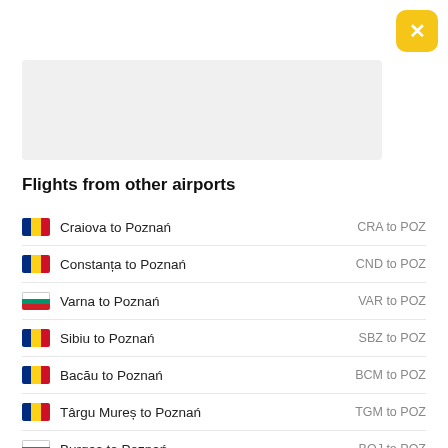Flights from other airports
Craiova to Poznań  CRA to POZ
Constanța to Poznań  CND to POZ
Varna to Poznań  VAR to POZ
Sibiu to Poznań  SBZ to POZ
Bacău to Poznań  BCM to POZ
Târgu Mureș to Poznań  TGM to POZ
Burgas to Poznań  BOJ to POZ
Plovdiv to Poznań  PDV to POZ